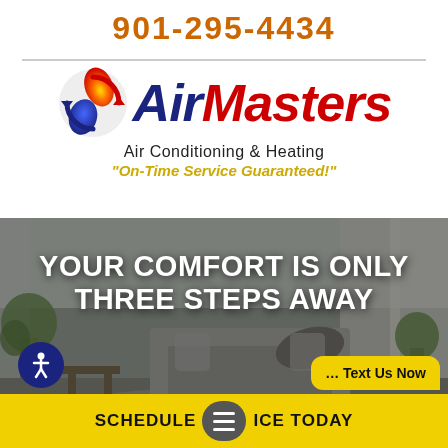901-295-4434
[Figure (logo): AirMasters Air Conditioning & Heating logo with circular flame/air icon in red, orange, yellow, and blue gradient]
Air Conditioning & Heating
"On-Time Service Guaranteed!"
[Figure (photo): Interior living room background photo with plants, sofa, curtains, in muted grey-green tones]
YOUR COMFORT IS ONLY THREE STEPS AWAY
SCHEDULE SERVICE TODAY
... Text Us Now